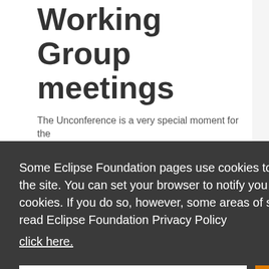Working Group meetings
The Unconference is a very special moment for the Eclipse Working Group...
Some Eclipse Foundation pages use cookies to better serve you when you return to the site. You can set your browser to notify you before you receive a cookie or turn off cookies. If you do so, however, some areas of some sites may not function properly. To read Eclipse Foundation Privacy Policy click here.